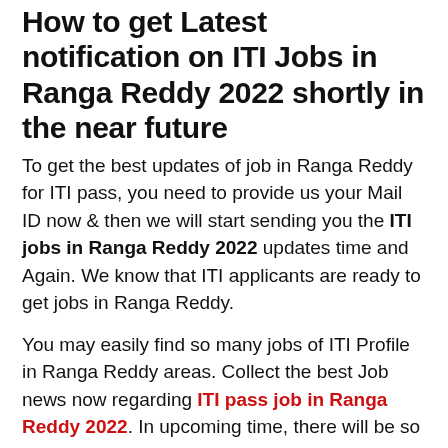How to get Latest notification on ITI Jobs in Ranga Reddy 2022 shortly in the near future
To get the best updates of job in Ranga Reddy for ITI pass, you need to provide us your Mail ID now & then we will start sending you the ITI jobs in Ranga Reddy 2022 updates time and Again. We know that ITI applicants are ready to get jobs in Ranga Reddy.
You may easily find so many jobs of ITI Profile in Ranga Reddy areas. Collect the best Job news now regarding ITI pass job in Ranga Reddy 2022. In upcoming time, there will be so many ITI jobs available for ITI Students in Ranga Reddy so be ready for that. All of ITI Candidate have bright future to get Jobs in Ranga Reddy.